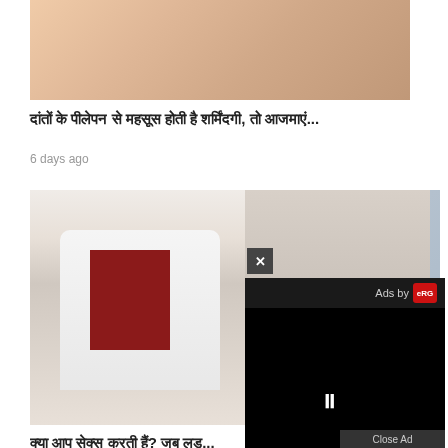[Figure (photo): Close-up photo of a person's chin and neck area, skin texture visible]
दांतों के पीलेपन से महसूस होती है शर्मिंदगी, तो आजमाएं...
6 days ago
[Figure (photo): A female doctor in white coat with stethoscope consulting a female patient who is touching her neck, in a clinical setting]
क्या आप सेक्स करती हैं? जब लड़...
6 days ago
[Figure (other): Video advertisement overlay with close button (×), 'Ads by' label with logo, black video player area, pause button (II), and 'Close Ad' bar at bottom]